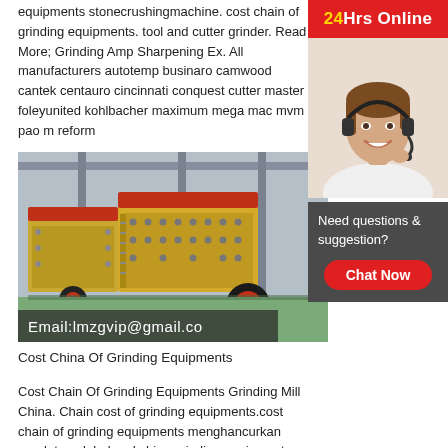equipments stonecrushingmachine. cost chain of grinding equipments. tool and cutter grinder. Read More; Grinding Amp Sharpening Ex. All manufacturers autotemp businaro camwood cantek centauro cincinnati conquest cutter master foleyunited kohlbacher maximum mega mac mvm pao m reform
[Figure (photo): Industrial grinding/crushing machine equipment in factory setting, yellow/gold colored heavy machinery]
Cost China Of Grinding Equipments
Cost Chain Of Grinding Equipments Grinding Mill China. Chain cost of grinding equipments.cost chain of grinding equipments menghancurkan peralatan.global and china grinding equipment
[Figure (infographic): Sidebar with 24Hrs Online banner in red, customer service agent photo with headset, Need questions & suggestion? text panel, and Chat Now button]